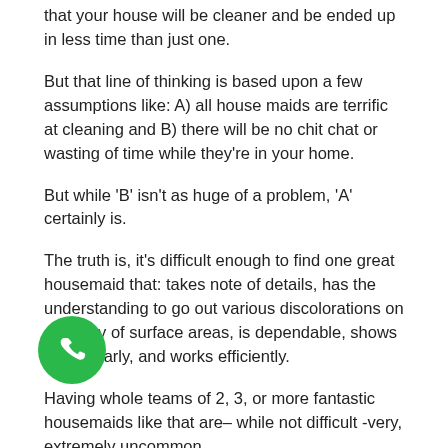that your house will be cleaner and be ended up in less time than just one.
But that line of thinking is based upon a few assumptions like: A) all house maids are terrific at cleaning and B) there will be no chit chat or wasting of time while they're in your home.
But while 'B' isn't as huge of a problem, 'A' certainly is.
The truth is, it's difficult enough to find one great housemaid that: takes note of details, has the understanding to go out various discolorations on a variety of surface areas, is dependable, shows up regularly, and works efficiently.
Having whole teams of 2, 3, or more fantastic housemaids like that are– while not difficult -very, extremely uncommon.
What to Look Out For in Move Out Cleaning Services
Renting or out of your home? The above pointers still get one of the most part with some changes. Here's a quick introduction of